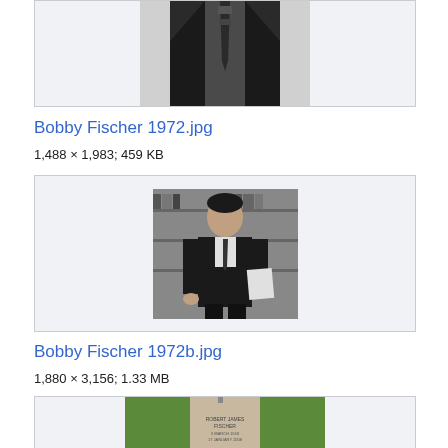[Figure (photo): Partial black and white photo of a person in a suit and tie, cropped at top showing mainly torso]
Bobby Fischer 1972.jpg
1,488 × 1,983; 459 KB
[Figure (photo): Black and white photo of a man in a suit standing in what appears to be a library or bookstore]
Bobby Fischer 1972b.jpg
1,880 × 3,156; 1.33 MB
[Figure (photo): Color photo of a gravestone reading ROBERT JAMES FISCHER with flowers at the base]